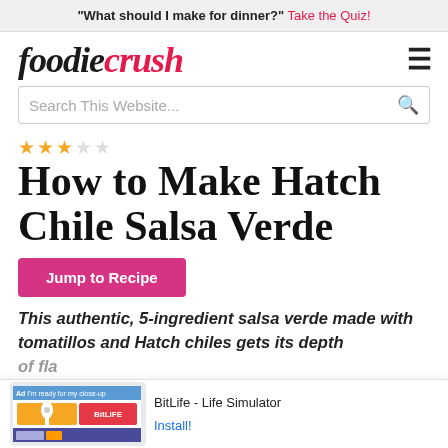“What should I make for dinner?” Take the Quiz!
foodiecrush
Search This Website...
★★★☆☆
How to Make Hatch Chile Salsa Verde
Jump to Recipe
This authentic, 5-ingredient salsa verde made with tomatillos and Hatch chiles gets its depth of fla... ht cho...